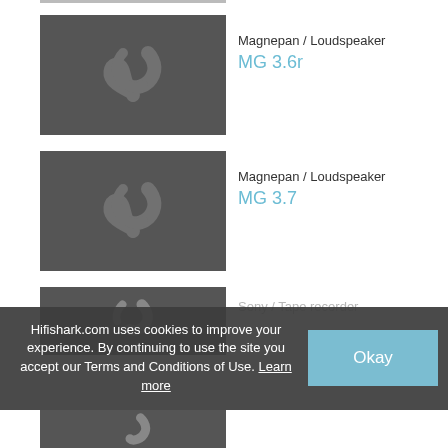[Figure (screenshot): Hifishark product listing page showing audio equipment listings with placeholder images and cookie consent overlay]
Magnepan / Loudspeaker
MG 3.6r
Magnepan / Loudspeaker
MG 3.7
Sony / Tape recorder
Hifishark.com uses cookies to improve your experience. By continuing to use the site you accept our Terms and Conditions of Use. Learn more
Okay